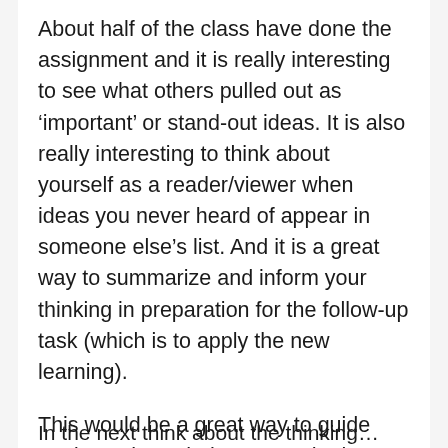About half of the class have done the assignment and it is really interesting to see what others pulled out as ‘important’ or stand-out ideas. It is also really interesting to think about yourself as a reader/viewer when ideas you never heard of appear in someone else’s list. And it is a great way to summarize and inform your thinking in preparation for the follow-up task (which is to apply the new learning).
This would be a great way to guide students through the research phase of a unit that is heavy in names/dates, theories/ideas. One of the group said she is planning on using this during her G5 Governance unit.
In the next think about the thinking...